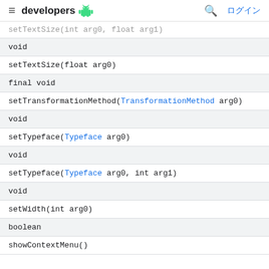≡ developers 🤖  🔍 ログイン
| setTextSize(int arg0, float arg1) |
| void |
| setTextSize(float arg0) |
| final void |
| setTransformationMethod(TransformationMethod arg0) |
| void |
| setTypeface(Typeface arg0) |
| void |
| setTypeface(Typeface arg0, int arg1) |
| void |
| setWidth(int arg0) |
| boolean |
| showContextMenu() |